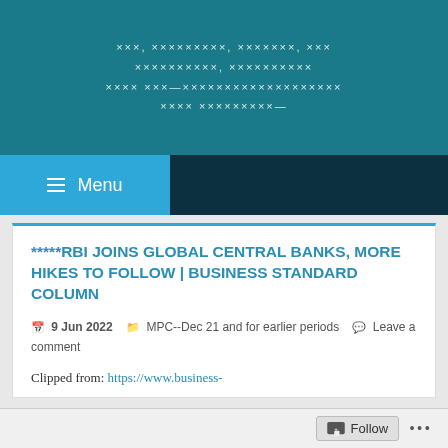xxx, xxxxxxxxx, xxxxxxxx, xxx
xxxxxxxxxx, xxxxxxxxxx
xxxx xxx—xxxxxxxxxxxxxxxxxxxxxxxx
xxxx xxxxxxxxx—
Menu
*****RBI JOINS GLOBAL CENTRAL BANKS, MORE HIKES TO FOLLOW | BUSINESS STANDARD COLUMN
9 Jun 2022   MPC--Dec 21 and for earlier periods   Leave a comment
Clipped from: https://www.business-